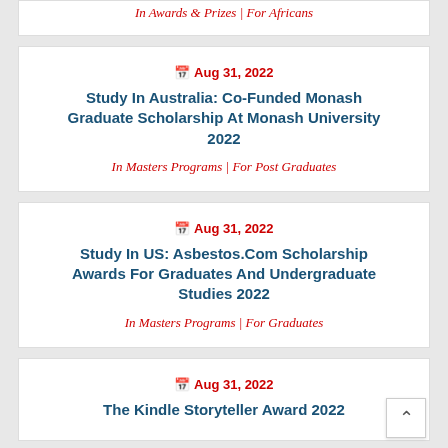In Awards & Prizes | For Africans
📅 Aug 31, 2022
Study In Australia: Co-Funded Monash Graduate Scholarship At Monash University 2022
In Masters Programs | For Post Graduates
📅 Aug 31, 2022
Study In US: Asbestos.Com Scholarship Awards For Graduates And Undergraduate Studies 2022
In Masters Programs | For Graduates
📅 Aug 31, 2022
The Kindle Storyteller Award 2022